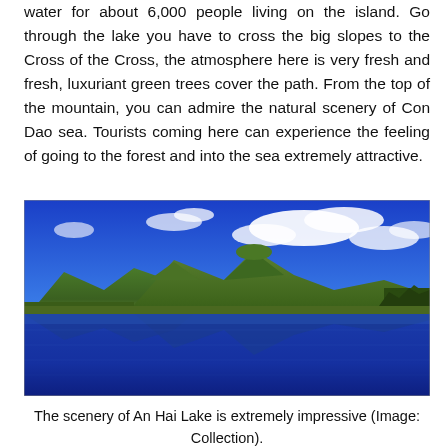water for about 6,000 people living on the island. Go through the lake you have to cross the big slopes to the Cross of the Cross, the atmosphere here is very fresh and fresh, luxuriant green trees cover the path. From the top of the mountain, you can admire the natural scenery of Con Dao sea. Tourists coming here can experience the feeling of going to the forest and into the sea extremely attractive.
[Figure (photo): A scenic landscape photo showing mountains with lush green forest reflected in a calm lake under a bright blue sky with white clouds — An Hai Lake scenery.]
The scenery of An Hai Lake is extremely impressive (Image: Collection).